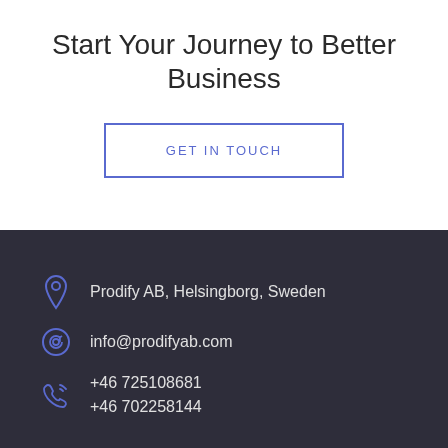Start Your Journey to Better Business
GET IN TOUCH
Prodify AB, Helsingborg, Sweden
info@prodifyab.com
+46 725108681
+46 702258144